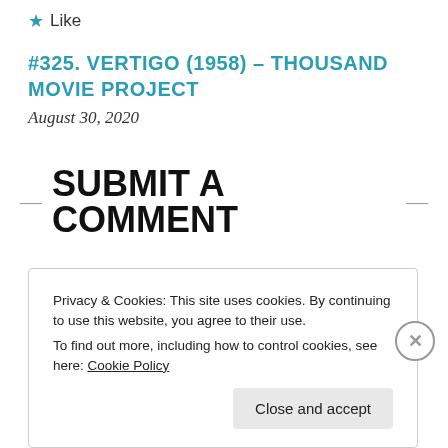★ Like
#325. VERTIGO (1958) – THOUSAND MOVIE PROJECT
August 30, 2020
SUBMIT A COMMENT
Privacy & Cookies: This site uses cookies. By continuing to use this website, you agree to their use.
To find out more, including how to control cookies, see here: Cookie Policy